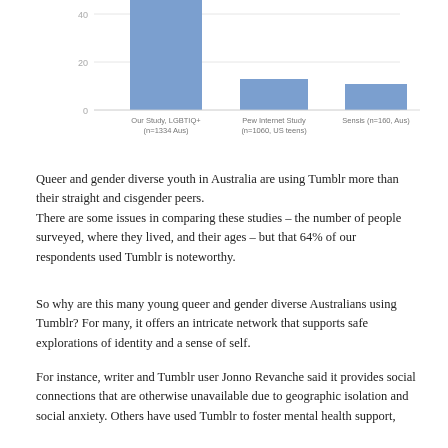[Figure (bar-chart): ]
Queer and gender diverse youth in Australia are using Tumblr more than their straight and cisgender peers.
There are some issues in comparing these studies – the number of people surveyed, where they lived, and their ages – but that 64% of our respondents used Tumblr is noteworthy.
So why are this many young queer and gender diverse Australians using Tumblr? For many, it offers an intricate network that supports safe explorations of identity and a sense of self.
For instance, writer and Tumblr user Jonno Revanche said it provides social connections that are otherwise unavailable due to geographic isolation and social anxiety. Others have used Tumblr to foster mental health support,